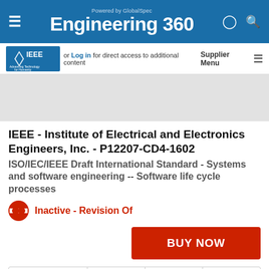Engineering 360 — Powered by GlobalSpec
or Log in for direct access to additional content  Supplier Menu
IEEE - Institute of Electrical and Electronics Engineers, Inc. - P12207-CD4-1602
ISO/IEC/IEEE Draft International Standard - Systems and software engineering -- Software life cycle processes
Inactive - Revision Of
BUY NOW
Details  History  Related Documents  Related Products  Related Suppliers